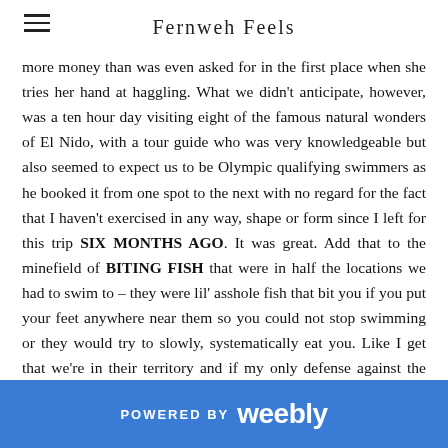Fernweh Feels
more money than was even asked for in the first place when she tries her hand at haggling. What we didn't anticipate, however, was a ten hour day visiting eight of the famous natural wonders of El Nido, with a tour guide who was very knowledgeable but also seemed to expect us to be Olympic qualifying swimmers as he booked it from one spot to the next with no regard for the fact that I haven't exercised in any way, shape or form since I left for this trip SIX MONTHS AGO. It was great. Add that to the minefield of BITING FISH that were in half the locations we had to swim to – they were lil' asshole fish that bit you if you put your feet anywhere near them so you could not stop swimming or they would try to slowly, systematically eat you. Like I get that we're in their territory and if my only defense against the monster creatures swimming through my area was to bite them, I would use what I got, but come ON. I am not a water monster trying to destroy your habitat, cut me some slack.
POWERED BY weebly